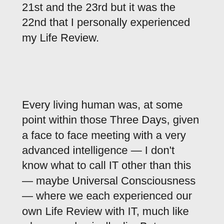21st and the 23rd but it was the 22nd that I personally experienced my Life Review.
Every living human was, at some point within those Three Days, given a face to face meeting with a very advanced intelligence — I don't know what to call IT other than this — maybe Universal Consciousness — where we each experienced our own Life Review with IT, much like when we physically die. But, because this was ascension related